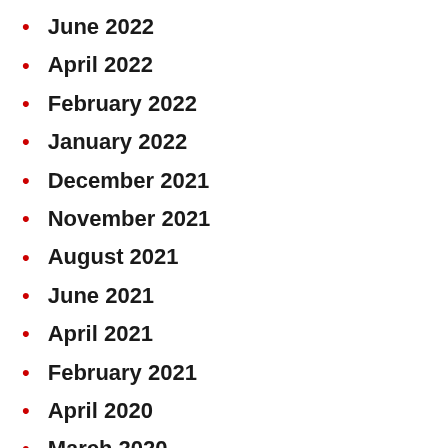June 2022
April 2022
February 2022
January 2022
December 2021
November 2021
August 2021
June 2021
April 2021
February 2021
April 2020
March 2020
January 2020
December 2019